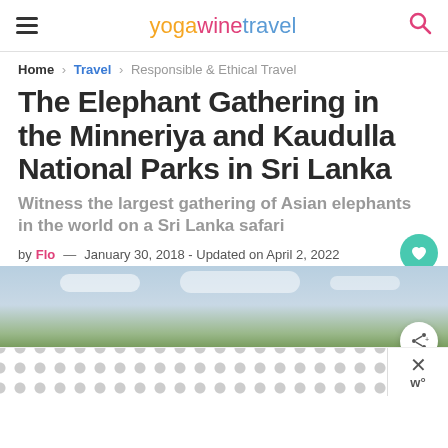yogawinetravel
Home > Travel > Responsible & Ethical Travel
The Elephant Gathering in the Minneriya and Kaudulla National Parks in Sri Lanka
Witness the largest gathering of Asian elephants in the world on a Sri Lanka safari
by Flo — January 30, 2018 - Updated on April 2, 2022
[Figure (photo): Wide landscape photo showing a large herd of elephants on a grassy plain with a lake or reservoir and cloudy sky in the background, Minneriya or Kaudulla National Park, Sri Lanka.]